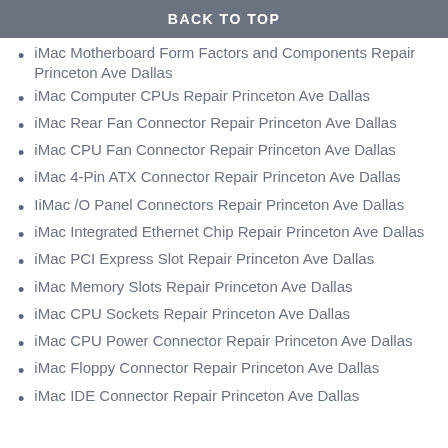BACK TO TOP
iMac Motherboard Form Factors and Components Repair Princeton Ave Dallas
iMac Computer CPUs Repair Princeton Ave Dallas
iMac Rear Fan Connector Repair Princeton Ave Dallas
iMac CPU Fan Connector Repair Princeton Ave Dallas
iMac 4-Pin ATX Connector Repair Princeton Ave Dallas
IiMac /O Panel Connectors Repair Princeton Ave Dallas
iMac Integrated Ethernet Chip Repair Princeton Ave Dallas
iMac PCI Express Slot Repair Princeton Ave Dallas
iMac Memory Slots Repair Princeton Ave Dallas
iMac CPU Sockets Repair Princeton Ave Dallas
iMac CPU Power Connector Repair Princeton Ave Dallas
iMac Floppy Connector Repair Princeton Ave Dallas
iMac IDE Connector Repair Princeton Ave Dallas